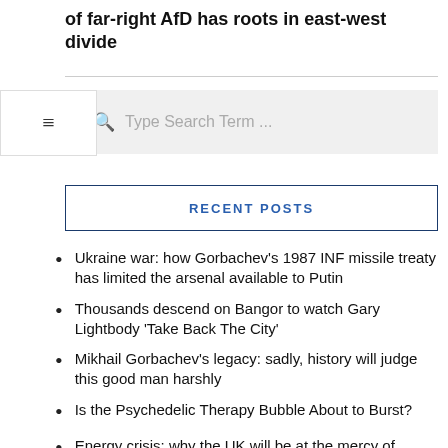of far-right AfD has roots in east-west divide
Type Search Term ...
RECENT POSTS
Ukraine war: how Gorbachev's 1987 INF missile treaty has limited the arsenal available to Putin
Thousands descend on Bangor to watch Gary Lightbody 'Take Back The City'
Mikhail Gorbachev's legacy: sadly, history will judge this good man harshly
Is the Psychedelic Therapy Bubble About to Burst?
Energy crisis: why the UK will be at the mercy of international gas prices for years to come